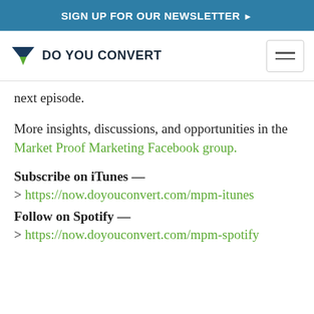SIGN UP FOR OUR NEWSLETTER ▶
[Figure (logo): Do You Convert logo with funnel icon and text 'DO YOU CONVERT' plus hamburger menu button]
next episode.
More insights, discussions, and opportunities in the Market Proof Marketing Facebook group.
Subscribe on iTunes —
> https://now.doyouconvert.com/mpm-itunes
Follow on Spotify —
> https://now.doyouconvert.com/mpm-spotify